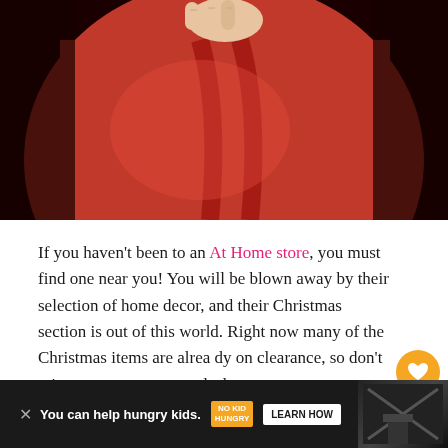[Figure (photo): Close-up photo of a hand holding a red object against a red and dark background]
If you haven't been to an At Home store, you must find one near you! You will be blown away by their selection of home decor, and their Christmas section is out of this world. Right now many of the Christmas items are already on clearance, so don't miss out on some great deals.
[Figure (infographic): Orange advertisement banner: 'You can help hungry kids.' with No Kid Hungry logo and LEARN HOW button. Number 9 and heart/share icons on right side.]